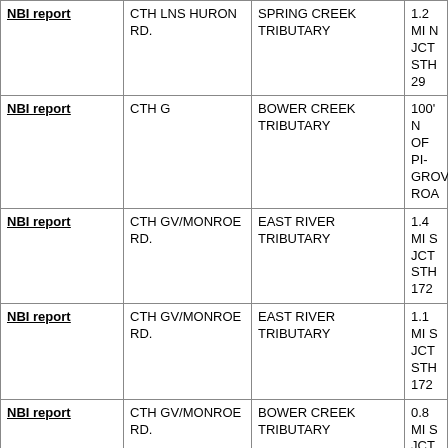|  | Road | Feature | Location |
| --- | --- | --- | --- |
| NBI report | CTH LNS HURON RD. | SPRING CREEK TRIBUTARY | 1.2 MI N JCT STH 29 |
| NBI report | CTH G | BOWER CREEK TRIBUTARY | 100' N OF PINE GROVE ROAD |
| NBI report | CTH GV/MONROE RD. | EAST RIVER TRIBUTARY | 1.4 MI S JCT STH 172 |
| NBI report | CTH GV/MONROE RD. | EAST RIVER TRIBUTARY | 1.1 MI S JCT STH 172 |
| NBI report | CTH GV/MONROE RD. | BOWER CREEK TRIBUTARY | 0.8 MI S JCT STH 172 |
| NBI report | IH 41 | ASHWAUBENON CR | AT ASHWAUBENON CREEK |
| NBI report | IH 41 NB | LRD 9TH ST | OVER 9TH STREET |
| NBI report | IH 41 NB | ASHWAUBENON CREEK | 0.1M N JCT OF |
| NBI report | IH 41 NB OFF RAMP | LRD BADGERLAND DR. | US 41 BROWN COUNTY |